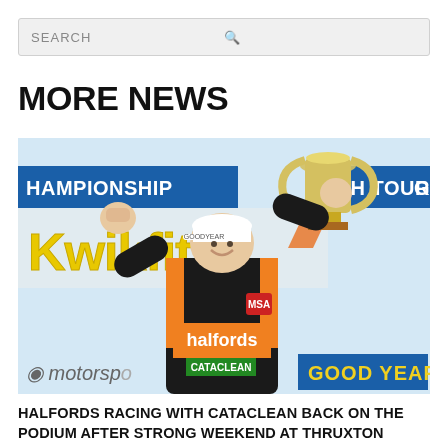SEARCH
MORE NEWS
[Figure (photo): A racing driver wearing a black Halfords racing suit with orange details and a white cap, celebrating on a podium with both arms raised, holding a trophy in his right hand. Behind him are banners reading 'CHAMPIONSHIP', 'TISH TOURING', 'Kwik Fit', 'motorspo...' and 'GOOD YEAR'.]
HALFORDS RACING WITH CATACLEAN BACK ON THE PODIUM AFTER STRONG WEEKEND AT THRUXTON